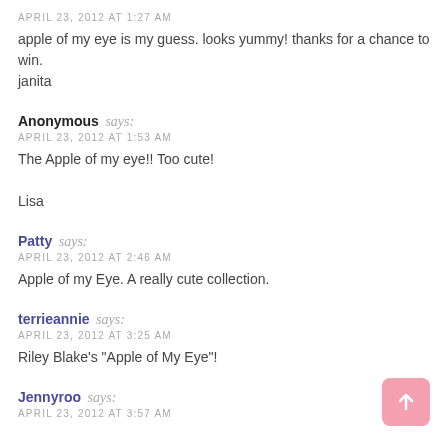APRIL 23, 2012 AT 1:27 AM
apple of my eye is my guess. looks yummy! thanks for a chance to win.
janita
Anonymous says:
APRIL 23, 2012 AT 1:53 AM
The Apple of my eye!! Too cute!

Lisa
Patty says:
APRIL 23, 2012 AT 2:46 AM
Apple of my Eye. A really cute collection.
terrieannie says:
APRIL 23, 2012 AT 3:25 AM
Riley Blake's "Apple of My Eye"!
Jennyroo says:
APRIL 23, 2012 AT 3:57 AM